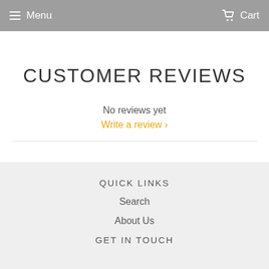Menu   Cart
CUSTOMER REVIEWS
No reviews yet
Write a review ›
QUICK LINKS
Search
About Us
GET IN TOUCH